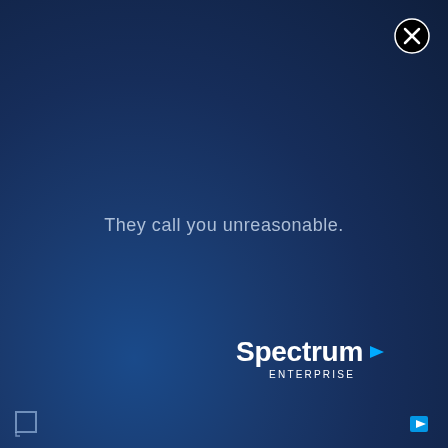[Figure (logo): Dark blue gradient background filling the entire page]
[Figure (other): Close/dismiss button (circle with X) in top-right corner]
They call you unreasonable.
[Figure (logo): Spectrum Enterprise logo in bottom-right area, white text with blue arrow mark]
[Figure (other): Small square icon in bottom-left corner]
[Figure (other): Small icon in bottom-right corner]